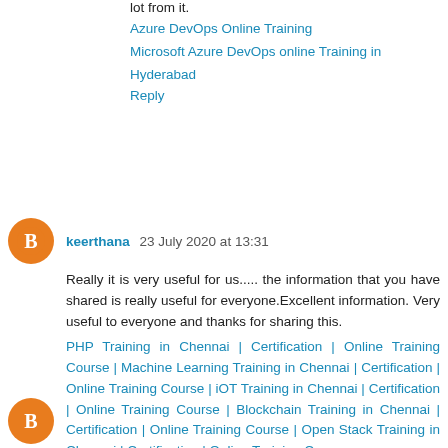lot from it.
Azure DevOps Online Training
Microsoft Azure DevOps online Training in Hyderabad
Reply
keerthana 23 July 2020 at 13:31
Really it is very useful for us..... the information that you have shared is really useful for everyone.Excellent information. Very useful to everyone and thanks for sharing this.
PHP Training in Chennai | Certification | Online Training Course | Machine Learning Training in Chennai | Certification | Online Training Course | iOT Training in Chennai | Certification | Online Training Course | Blockchain Training in Chennai | Certification | Online Training Course | Open Stack Training in Chennai | Certification | Online Training Course
Reply